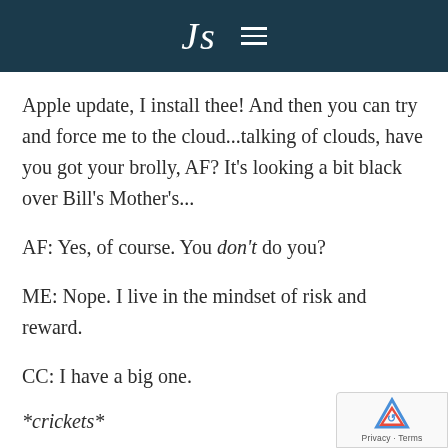Js ≡
Apple update, I install thee! And then you can try and force me to the cloud...talking of clouds, have you got your brolly, AF? It's looking a bit black over Bill's Mother's...
AF: Yes, of course. You don't do you?
ME: Nope. I live in the mindset of risk and reward.
CC: I have a big one.
*crickets*